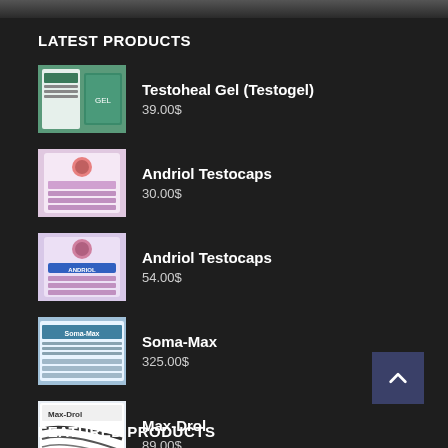LATEST PRODUCTS
Testoheal Gel (Testogel)
39.00$
Andriol Testocaps
30.00$
Andriol Testocaps
54.00$
Soma-Max
325.00$
Max-Drol
89.00$
FEATURED PRODUCTS